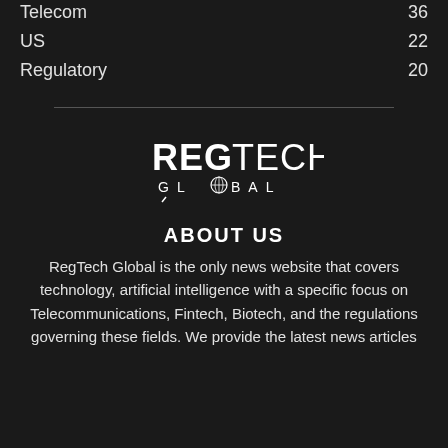Trends  41
Telecom  36
US  22
Regulatory  20
[Figure (logo): RegTech Global logo — bold white text REGTECH on top, GLOBAL below with a globe icon integrated into letter O]
ABOUT US
RegTech Global is the only news website that covers technology, artificial intelligence with a specific focus on Telecommunications, Fintech, Biotech, and the regulations governing these fields. We provide the latest news articles...